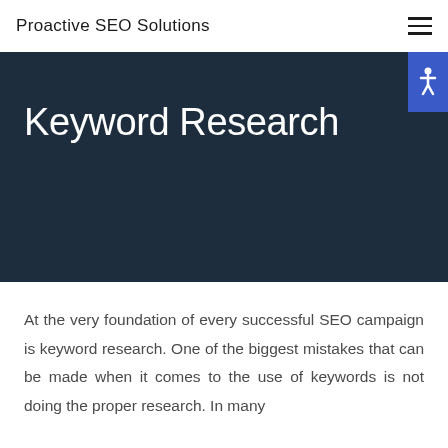Proactive SEO Solutions
Keyword Research
At the very foundation of every successful SEO campaign is keyword research. One of the biggest mistakes that can be made when it comes to the use of keywords is not doing the proper research. In many